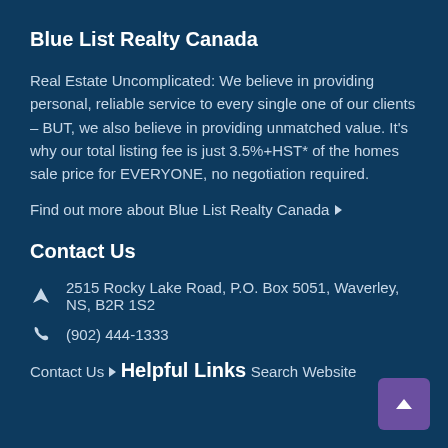Blue List Realty Canada
Real Estate Uncomplicated: We believe in providing personal, reliable service to every single one of our clients – BUT, we also believe in providing unmatched value. It's why our total listing fee is just 3.5%+HST* of the homes sale price for EVERYONE, no negotiation required.
Find out more about Blue List Realty Canada ▶
Contact Us
2515 Rocky Lake Road, P.O. Box 5051, Waverley, NS, B2R 1S2
(902) 444-1333
Contact Us ▶
Helpful Links
Search Website